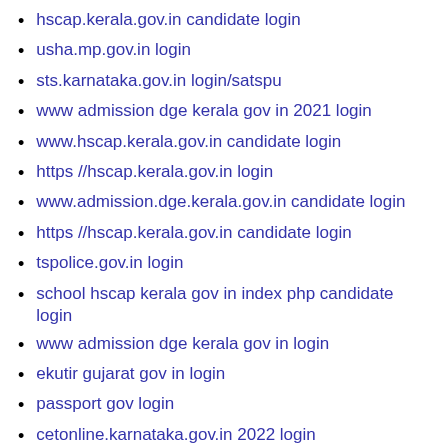hscap.kerala.gov.in candidate login
usha.mp.gov.in login
sts.karnataka.gov.in login/satspu
www admission dge kerala gov in 2021 login
www.hscap.kerala.gov.in candidate login
https //hscap.kerala.gov.in login
www.admission.dge.kerala.gov.in candidate login
https //hscap.kerala.gov.in candidate login
tspolice.gov.in login
school hscap kerala gov in index php candidate login
www admission dge kerala gov in login
ekutir gujarat gov in login
passport gov login
cetonline.karnataka.gov.in 2022 login
healthid ndhm gov in to login